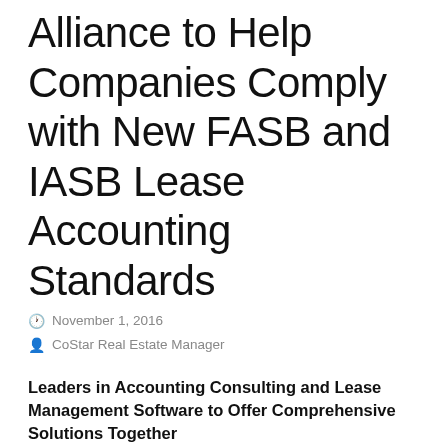Alliance to Help Companies Comply with New FASB and IASB Lease Accounting Standards
November 1, 2016
CoStar Real Estate Manager
Leaders in Accounting Consulting and Lease Management Software to Offer Comprehensive Solutions Together